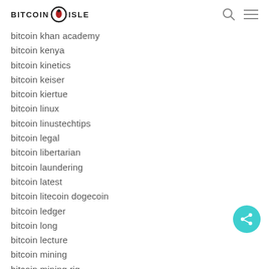BITCOIN ISLE
bitcoin khan academy
bitcoin kenya
bitcoin kinetics
bitcoin keiser
bitcoin kiertue
bitcoin linux
bitcoin linustechtips
bitcoin legal
bitcoin libertarian
bitcoin laundering
bitcoin latest
bitcoin litecoin dogecoin
bitcoin ledger
bitcoin long
bitcoin lecture
bitcoin mining
bitcoin mining rig
bitcoin mining explained
bitcoin miner